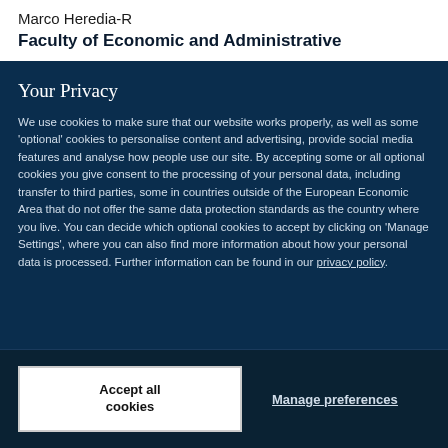Marco Heredia-R
Faculty of Economic and Administrative
Your Privacy
We use cookies to make sure that our website works properly, as well as some 'optional' cookies to personalise content and advertising, provide social media features and analyse how people use our site. By accepting some or all optional cookies you give consent to the processing of your personal data, including transfer to third parties, some in countries outside of the European Economic Area that do not offer the same data protection standards as the country where you live. You can decide which optional cookies to accept by clicking on 'Manage Settings', where you can also find more information about how your personal data is processed. Further information can be found in our privacy policy.
Accept all cookies
Manage preferences